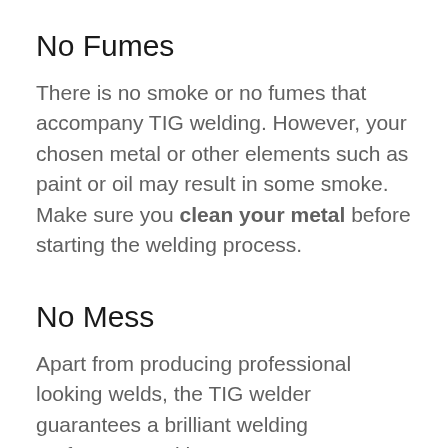No Fumes
There is no smoke or no fumes that accompany TIG welding. However, your chosen metal or other elements such as paint or oil may result in some smoke. Make sure you clean your metal before starting the welding process.
No Mess
Apart from producing professional looking welds, the TIG welder guarantees a brilliant welding performance without